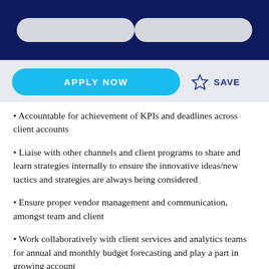Accountable for achievement of KPIs and deadlines across client accounts
Liaise with other channels and client programs to share and learn strategies internally to ensure the innovative ideas/new tactics and strategies are always being considered
Ensure proper vendor management and communication, amongst team and client
Work collaboratively with client services and analytics teams for annual and monthly budget forecasting and play a part in growing account